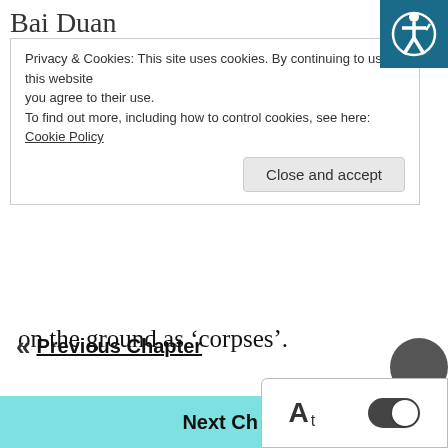Bai Duan... (partial, clipped at top)
Privacy & Cookies: This site uses cookies. By continuing to use this website you agree to their use.
To find out more, including how to control cookies, see here: Cookie Policy
Close and accept
on the ground as ‘corpses’.
After eliminating these ‘obstacles’ with tacit cooperation, Bai Duan and Nie LanLei turned to the farmer’s market. But just as they took a few steps, they heard a girl’s uncertain and cautious voice, “Xiao Duan? Are you Xiao Duan?”
« Previous Chapter
Next Ch...